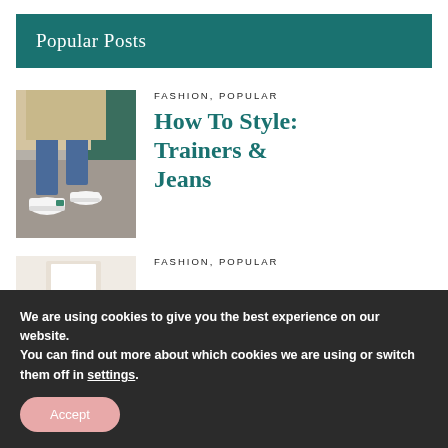Popular Posts
FASHION, POPULAR
How To Style: Trainers & Jeans
[Figure (photo): Photo of person wearing blue jeans and white sneaker trainers, standing on a sidewalk near a building]
FASHION, POPULAR
[Figure (photo): Partial photo of a white outfit or item, partially visible at bottom of page]
We are using cookies to give you the best experience on our website.
You can find out more about which cookies we are using or switch them off in settings.
Accept